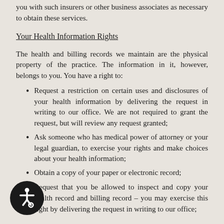you with such insurers or other business associates as necessary to obtain these services.
Your Health Information Rights
The health and billing records we maintain are the physical property of the practice. The information in it, however, belongs to you. You have a right to:
Request a restriction on certain uses and disclosures of your health information by delivering the request in writing to our office. We are not required to grant the request, but will review any request granted;
Ask someone who has medical power of attorney or your legal guardian, to exercise your rights and make choices about your health information;
Obtain a copy of your paper or electronic record;
Request that you be allowed to inspect and copy your health record and billing record – you may exercise this right by delivering the request in writing to our office;